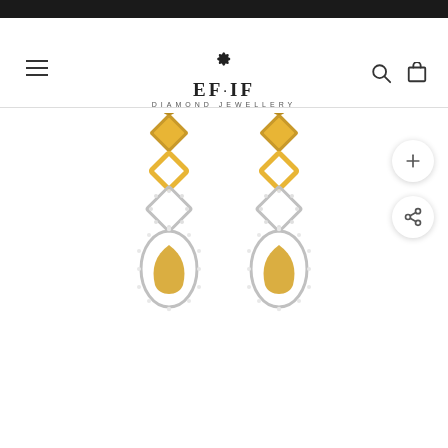[Figure (logo): EF·IF Diamond Jewellery logo with decorative flower emblem above stylized brand name]
[Figure (photo): A pair of gold and diamond drop earrings featuring geometric square shapes and teardrop dangles encrusted with diamonds, displayed on white background]